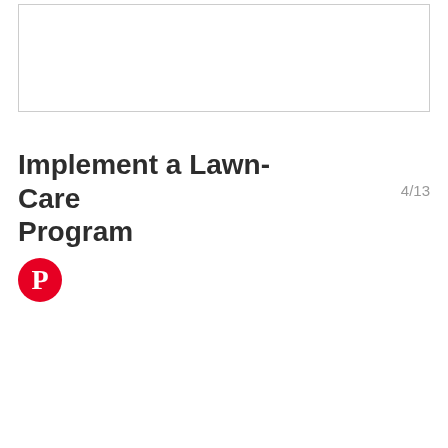[Figure (other): Empty white box with light gray border, placeholder image area]
Implement a Lawn-Care Program
4/13
[Figure (logo): Pinterest logo — red circle with white letter P]